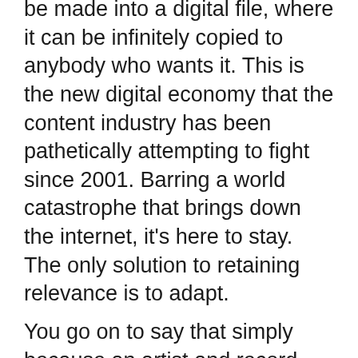be made into a digital file, where it can be infinitely copied to anybody who wants it. This is the new digital economy that the content industry has been pathetically attempting to fight since 2001. Barring a world catastrophe that brings down the internet, it's here to stay. The only solution to retaining relevance is to adapt.
You go on to say that simply because an artist and record company have worked together to produce something they think has value, people are obligated to pay for it. This is simply not the case. People used to have expensive long-distance calling plans, pay for extra nighttime minutes, or subscribe to for-pay webmail services. All of these things have